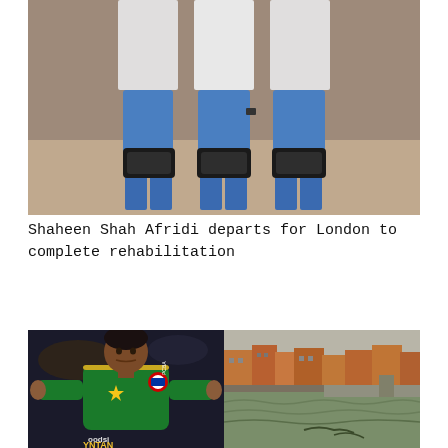[Figure (photo): Three persons standing side by side, wearing blue shorts and white t-shirts, with knee braces on their legs, photographed from the waist down.]
Shaheen Shah Afridi departs for London to complete rehabilitation
[Figure (photo): Pakistan cricket player in green jersey with star and Pepsi logo, arms outstretched, celebrating.]
[Figure (photo): Flood scene showing waterlogged area with brick buildings in the background.]